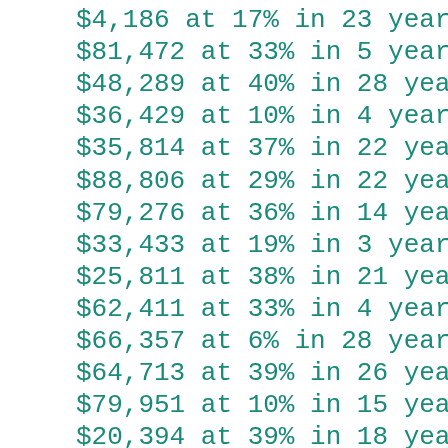$4,186 at 17% in 23 years
$81,472 at 33% in 5 years
$48,289 at 40% in 28 years
$36,429 at 10% in 4 years
$35,814 at 37% in 22 years
$88,806 at 29% in 22 years
$79,276 at 36% in 14 years
$33,433 at 19% in 3 years
$25,811 at 38% in 21 years
$62,411 at 33% in 4 years
$66,357 at 6% in 28 years
$64,713 at 39% in 26 years
$79,951 at 10% in 15 years
$20,394 at 39% in 18 years
$33,553 at 39% in 12 years
$39,895 at 3% in 15 years
$67,792 at 35% in 16 years
$81,894 at 16% in 27...